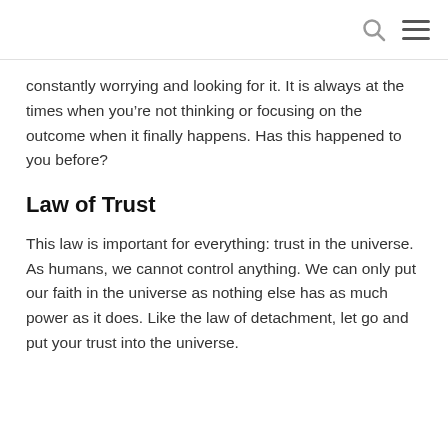[search icon] [menu icon]
constantly worrying and looking for it. It is always at the times when you’re not thinking or focusing on the outcome when it finally happens. Has this happened to you before?
Law of Trust
This law is important for everything: trust in the universe. As humans, we cannot control anything. We can only put our faith in the universe as nothing else has as much power as it does. Like the law of detachment, let go and put your trust into the universe.